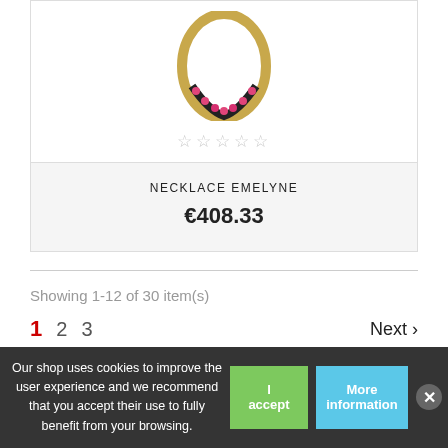[Figure (photo): Gold oval necklace pendant with pink/red gemstones set along the bottom curve, shown on white background]
★★★★★ (empty star rating, 5 stars)
NECKLACE EMELYNE
€408.33
Showing 1-12 of 30 item(s)
1  2  3  Next >
Our shop uses cookies to improve the user experience and we recommend that you accept their use to fully benefit from your browsing.